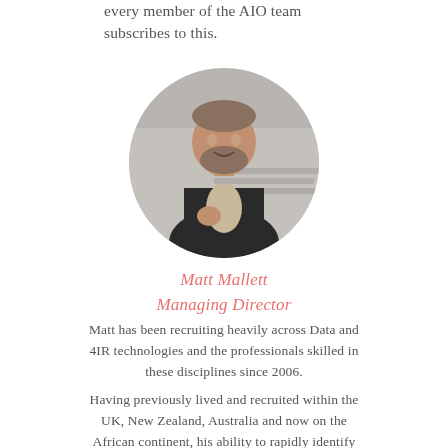every member of the AIO team subscribes to this.
[Figure (photo): Circular black and white portrait photo of Matt Mallett, a man in a dark blazer, smiling, standing outdoors.]
Matt Mallett
Managing Director
Matt has been recruiting heavily across Data and 4IR technologies and the professionals skilled in these disciplines since 2006.
Having previously lived and recruited within the UK, New Zealand, Australia and now on the African continent, his ability to rapidly identify top talent on